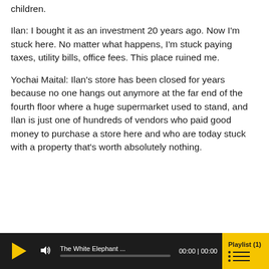children.
Ilan: I bought it as an investment 20 years ago. Now I'm stuck here. No matter what happens, I'm stuck paying taxes, utility bills, office fees. This place ruined me.
Yochai Maital: Ilan's store has been closed for years because no one hangs out anymore at the far end of the fourth floor where a huge supermarket used to stand, and Ilan is just one of hundreds of vendors who paid good money to purchase a store here and who are today stuck with a property that's worth absolutely nothing.
[Figure (screenshot): Audio player bar showing play button, volume icon, track name 'The White Elephant ...', time display '00:00 | 00:00', progress bar, and Playlist (1) button in yellow.]